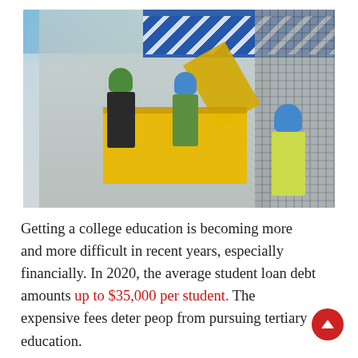[Figure (photo): Construction workers on a yellow aerial lift platform working on a wall or building facade, with fencing and a blue billboard visible in the background. Three workers with hard hats are visible.]
Getting a college education is becoming more and more difficult in recent years, especially financially. In 2020, the average student loan debt amounts up to $35,000 per student. The expensive fees deter people from pursuing tertiary education.